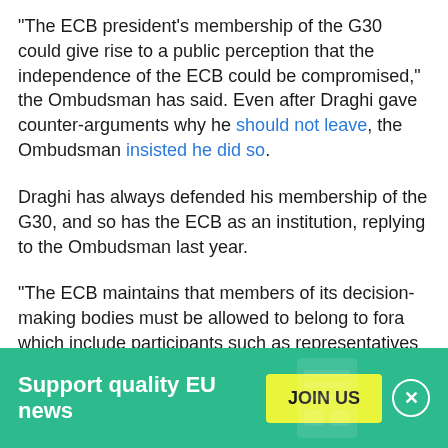"The ECB president's membership of the G30 could give rise to a public perception that the independence of the ECB could be compromised," the Ombudsman has said. Even after Draghi gave counter-arguments why he should not leave, the Ombudsman insisted he did so.
Draghi has always defended his membership of the G30, and so has the ECB as an institution, replying to the Ombudsman last year.
"The ECB maintains that members of its decision-making bodies must be allowed to belong to fora which include participants such as representatives of supervised entities and to attend related meetings, when such gatherings are deemed relevant and useful for central...
Support quality EU news